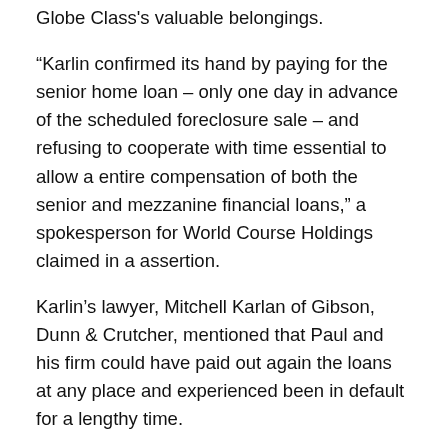Globe Class's valuable belongings.
“Karlin confirmed its hand by paying for the senior home loan – only one day in advance of the scheduled foreclosure sale – and refusing to cooperate with time essential to allow a entire compensation of both the senior and mezzanine financial loans,” a spokesperson for World Course Holdings claimed in a assertion.
Karlin’s lawyer, Mitchell Karlan of Gibson, Dunn & Crutcher, mentioned that Paul and his firm could have paid out again the loans at any place and experienced been in default for a lengthy time.
“They have our wire transfer instructions,” explained Karlan. “They can just repay the loan.”